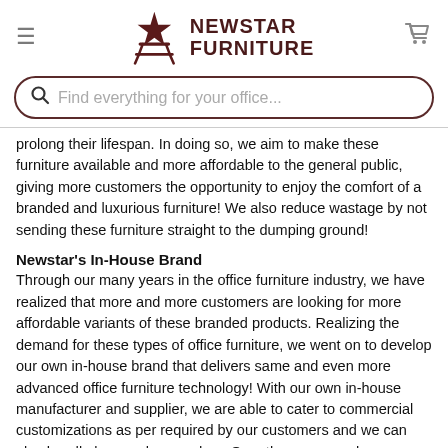[Figure (logo): Newstar Furniture logo with chair/star icon and brand name in dark maroon]
[Figure (screenshot): Search bar with placeholder text 'Find everything for your office...']
prolong their lifespan. In doing so, we aim to make these furniture available and more affordable to the general public, giving more customers the opportunity to enjoy the comfort of a branded and luxurious furniture! We also reduce wastage by not sending these furniture straight to the dumping ground!
Newstar's In-House Brand
Through our many years in the office furniture industry, we have realized that more and more customers are looking for more affordable variants of these branded products. Realizing the demand for these types of office furniture, we went on to develop our own in-house brand that delivers same and even more advanced office furniture technology! With our own in-house manufacturer and supplier, we are able to cater to commercial customizations as per required by our customers and we can also handle large volume orders. Over the years, we have accumulated a wealth of knowledge